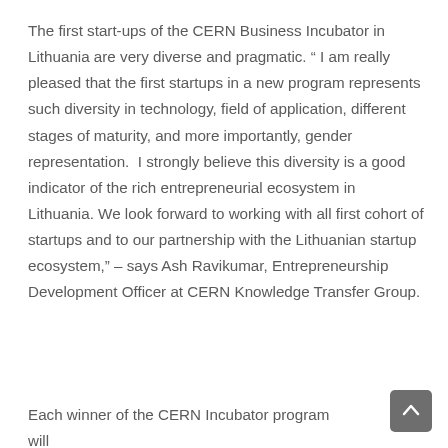The first start-ups of the CERN Business Incubator in Lithuania are very diverse and pragmatic. “ I am really pleased that the first startups in a new program represents such diversity in technology, field of application, different stages of maturity, and more importantly, gender representation. I strongly believe this diversity is a good indicator of the rich entrepreneurial ecosystem in Lithuania. We look forward to working with all first cohort of startups and to our partnership with the Lithuanian startup ecosystem,” – says Ash Ravikumar, Entrepreneurship Development Officer at CERN Knowledge Transfer Group.
Each winner of the CERN Incubator program will